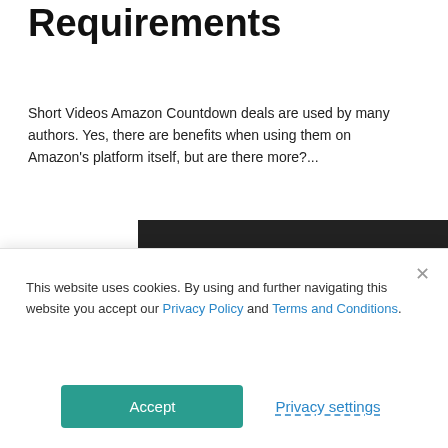Requirements
Short Videos Amazon Countdown deals are used by many authors. Yes, there are benefits when using them on Amazon's platform itself, but are there more?...
[Figure (other): Dark button with text READ MORE and a right chevron arrow]
[Figure (illustration): Banner image with orange/red background showing bold white italic text 'HOW TO SELECT YOUR KEYWORDS' with a person's face on the right side and a 'Self-Publishing Authors' logo badge]
This website uses cookies. By using and further navigating this website you accept our Privacy Policy and Terms and Conditions.
Accept
Privacy settings